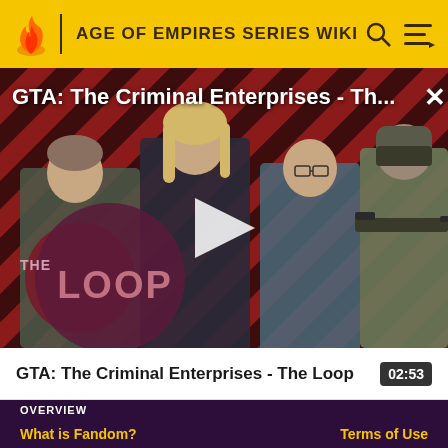AGE OF EMPIRES SERIES WIKI
[Figure (screenshot): Video thumbnail for 'GTA: The Criminal Enterprises - The Loop' showing four game characters against a red and black diagonal striped background, with a play button in the center and 'THE LOOP' logo in the lower left. Title text overlaid at top reads 'GTA: The Criminal Enterprises - Th...']
GTA: The Criminal Enterprises - The Loop  02:53
OVERVIEW
What is Fandom?    Terms of Use